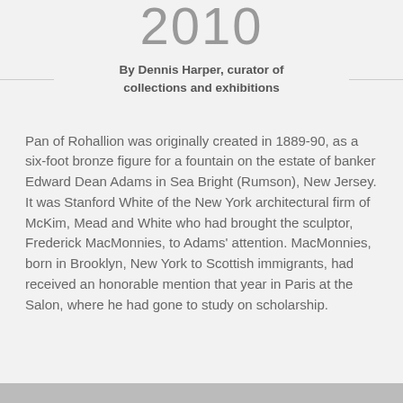2010
By Dennis Harper, curator of collections and exhibitions
Pan of Rohallion was originally created in 1889-90, as a six-foot bronze figure for a fountain on the estate of banker Edward Dean Adams in Sea Bright (Rumson), New Jersey. It was Stanford White of the New York architectural firm of McKim, Mead and White who had brought the sculptor, Frederick MacMonnies, to Adams' attention. MacMonnies, born in Brooklyn, New York to Scottish immigrants, had received an honorable mention that year in Paris at the Salon, where he had gone to study on scholarship.